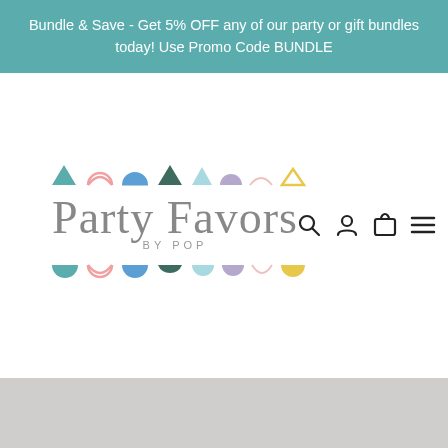Bundle & Save - Get 5% OFF any of our party or gift bundles today! Use Promo Code BUNDLE
[Figure (logo): Party Favors by Pop logo with colorful decorative semi-circle shapes above and below the script text. Navigation icons (search, account, cart, menu) on the right.]
[Figure (other): Gray footer/content area at the bottom of the page]